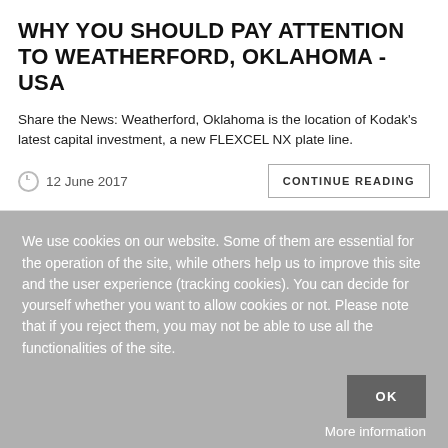WHY YOU SHOULD PAY ATTENTION TO WEATHERFORD, OKLAHOMA - USA
Share the News: Weatherford, Oklahoma is the location of Kodak’s latest capital investment, a new FLEXCEL NX plate line.
12 June 2017
CONTINUE READING
We use cookies on our website. Some of them are essential for the operation of the site, while others help us to improve this site and the user experience (tracking cookies). You can decide for yourself whether you want to allow cookies or not. Please note that if you reject them, you may not be able to use all the functionalities of the site.
OK
More information